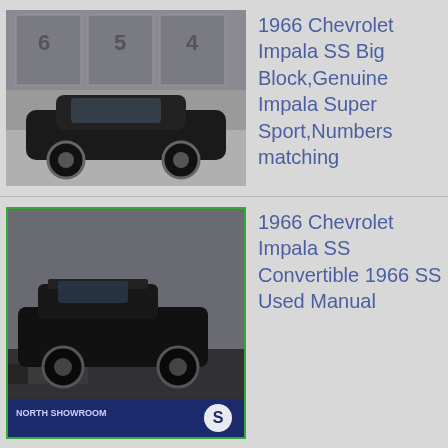[Figure (photo): Black 1966 Chevrolet Impala SS in front of a garage with numbered bays (6, 5, 4)]
1966 Chevrolet Impala SS Big Block,Genuine Impala Super Sport,Numbers matching
[Figure (photo): Black 1966 Chevrolet Impala SS Convertible in a showroom with NORTH SHOWROOM text visible]
1966 Chevrolet Impala SS Convertible 1966 SS Used Manual
[Figure (photo): Interior view of a 1966 Chevy Impala Convertible]
1966 Chevy Impala Convertible - (2 Impala and Impala SS)
[Figure (photo): Gold/tan 1966 Chevrolet Impala SS parked outside with trees in background]
1966 Chevrolet Impala SS